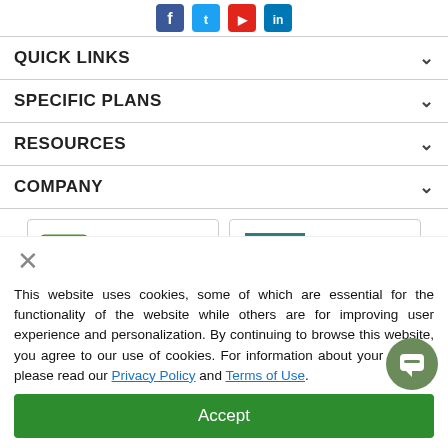QUICK LINKS
SPECIFIC PLANS
RESOURCES
COMPANY
[Figure (logo): GoDaddy Verified & Secured badge, TrustedSite badge, PCI DSS Compliant badge, BBB Accredited badge]
This website uses cookies, some of which are essential for the functionality of the website while others are for improving user experience and personalization. By continuing to browse this website, you agree to our use of cookies. For information about your privacy, please read our Privacy Policy and Terms of Use.
Accept